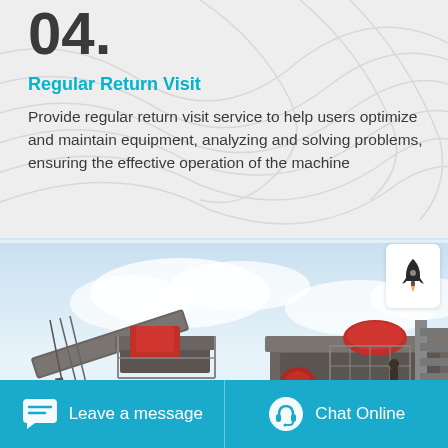04.
Regular Return Visit
Provide regular return visit service to help users optimize and maintain equipment, analyzing and solving problems, ensuring the effective operation of the machine
[Figure (photo): Industrial heavy mining/crushing equipment machinery with metal scaffolding and platforms against a cloudy sky. Two large machines visible with red components, metal stairs and railings.]
Leave a message
Chat Online